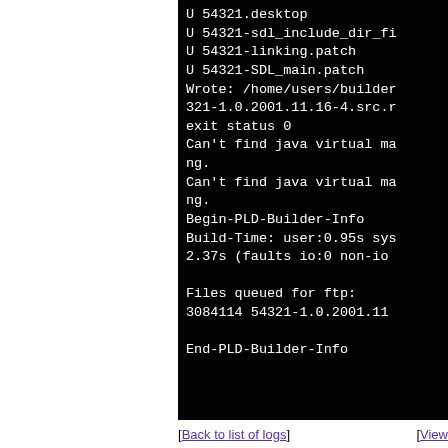U 54321.desktop
U 54321-sdl_include_dir_fi
U 54321-linking.patch
U 54321-SDL_main.patch
Wrote: /home/users/builder
321-1.0.2001.11.16-4.src.r
exit status 0
Can't find java virtual ma
ng.
Can't find java virtual ma
ng.
Begin-PLD-Builder-Info
Build-Time: user:0.95s sys
2.37s (faults io:0 non-io

Files queued for ftp:
3084114 54321-1.0.2001.11

End-PLD-Builder-Info
[Back to list of logs]  [View